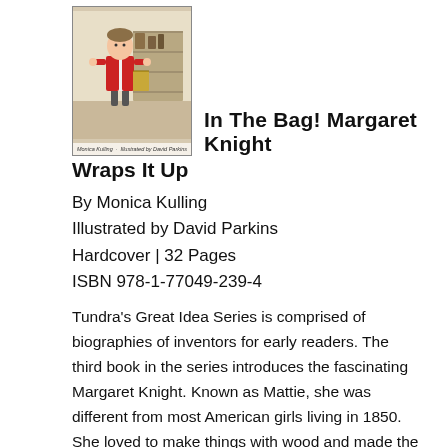[Figure (illustration): Book cover illustration of 'In The Bag! Margaret Knight Wraps It Up' by Monica Kulling, illustrated by David Parkins. Shows a child in red and white clothing. Small caption text at the bottom: 'Monica Kulling · Illustrated by David Parkins']
In The Bag! Margaret Knight Wraps It Up
By Monica Kulling
Illustrated by David Parkins
Hardcover | 32 Pages
ISBN 978-1-77049-239-4
Tundra's Great Idea Series is comprised of biographies of inventors for early readers. The third book in the series introduces the fascinating Margaret Knight. Known as Mattie, she was different from most American girls living in 1850. She loved to make things with wood and made the best kites and sleds in town. Her father died when she was only three, and by the time she was twelve, she was working at the local cotton mill alongside her two older brothers. One day, she saw a worker get injured by a shuttle that had come loose from the giant loom, and